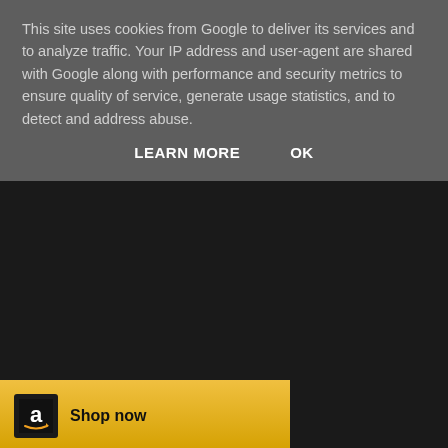This site uses cookies from Google to deliver its services and to analyze traffic. Your IP address and user-agent are shared with Google along with performance and security metrics to ensure quality of service, generate usage statistics, and to detect and address abuse.
LEARN MORE    OK
[Figure (logo): Amazon logo with golden background and 'Shop now' text]
Badwitch at 08:53
Share
2 comments:
Emma Smallbone 14 January 2016 at 20:16
Thanks so much for reviewing the book. Still hard to believe it is out in the world!
Reply